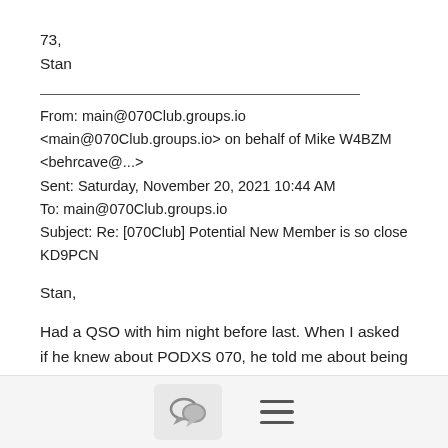73,
Stan
From: main@070Club.groups.io <main@070Club.groups.io> on behalf of Mike W4BZM <behrcave@...>
Sent: Saturday, November 20, 2021 10:44 AM
To: main@070Club.groups.io
Subject: Re: [070Club] Potential New Member is so close KD9PCN
Stan,

Had a QSO with him night before last. When I asked if he knew about PODXS 070, he told me about being at 47 and counting. So hopefully I was #48.

He also mentioned that he knew you.
[Figure (other): Bottom toolbar with chat bubble icon button and hamburger menu icon]